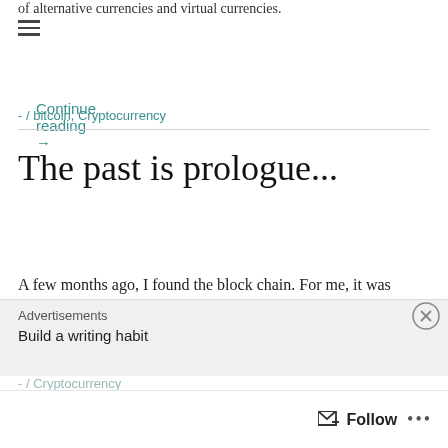of alternative currencies and virtual currencies.
Continue reading →
- / bitcoin, Cryptocurrency
The past is prologue...
A few months ago, I found the block chain. For me, it was almost a spiritual experience because [...]
- / Cryptocurrency
Advertisements
Build a writing habit
Follow ...